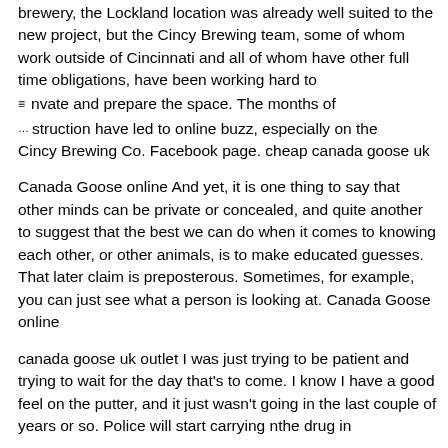brewery, the Lockland location was already well suited to the new project, but the Cincy Brewing team, some of whom work outside of Cincinnati and all of whom have other full time obligations, have been working hard to renovate and prepare the space. The months of construction have led to online buzz, especially on the Cincy Brewing Co. Facebook page. cheap canada goose uk
Canada Goose online And yet, it is one thing to say that other minds can be private or concealed, and quite another to suggest that the best we can do when it comes to knowing each other, or other animals, is to make educated guesses. That later claim is preposterous. Sometimes, for example, you can just see what a person is looking at. Canada Goose online
canada goose uk outlet I was just trying to be patient and trying to wait for the day that's to come. I know I have a good feel on the putter, and it just wasn't going in the last couple of years or so. Police will start carrying nthe drug in